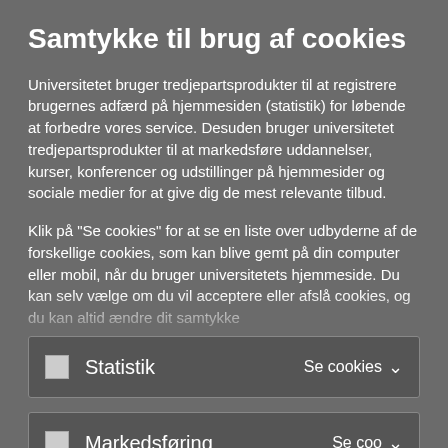Samtykke til brug af cookies
Universitetet bruger tredjepartsprodukter til at registrere brugernes adfærd på hjemmesiden (statistik) for løbende at forbedre vores service. Desuden bruger universitetet tredjepartsprodukter til at markedsføre uddannelser, kurser, konferencer og udstillinger på hjemmesider og sociale medier for at give dig de mest relevante tilbud.
Klik på "Se cookies" for at se en liste over udbyderne af de forskellige cookies, som kan blive gemt på din computer eller mobil, når du bruger universitetets hjemmeside. Du kan selv vælge om du vil acceptere eller afslå cookies, og du kan altid ændre dit samtykke
| Statistik | Se cookies |
| Markedsføring | Se cookies |